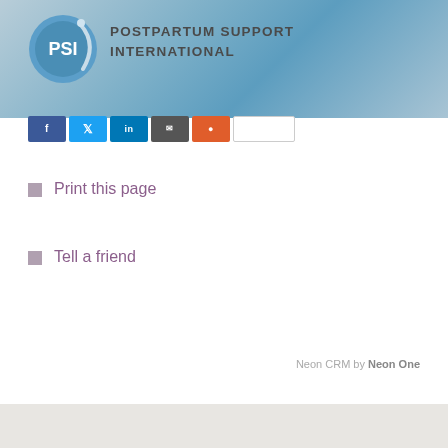[Figure (logo): Postpartum Support International (PSI) logo with blue circle containing PSI text and swoosh graphic, on a light blue gradient banner background with organization name 'POSTPARTUM SUPPORT INTERNATIONAL']
[Figure (other): Social sharing buttons row: Facebook (blue), Twitter (light blue), LinkedIn (dark blue), Email (dark grey), Reddit (orange-red), and a white input field]
Print this page
Tell a friend
Neon CRM by Neon One
[Figure (other): Grey/beige footer band at bottom of page]